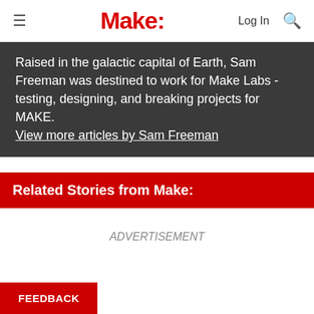≡  Make:  Log In 🔍
Raised in the galactic capital of Earth, Sam Freeman was destined to work for Make Labs - testing, designing, and breaking projects for MAKE. View more articles by Sam Freeman
Related Stories from Make:
ADVERTISEMENT
FEEDBACK